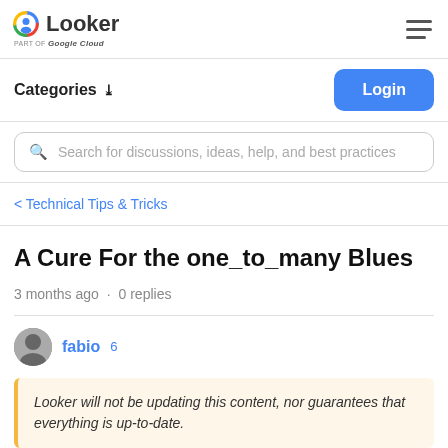Looker | part of Google Cloud
Categories ▾
Login
Search for discussions, ideas, help, and best practices
< Technical Tips & Tricks
A Cure For the one_to_many Blues
3 months ago · 0 replies
fabio 6
Looker will not be updating this content, nor guarantees that everything is up-to-date.